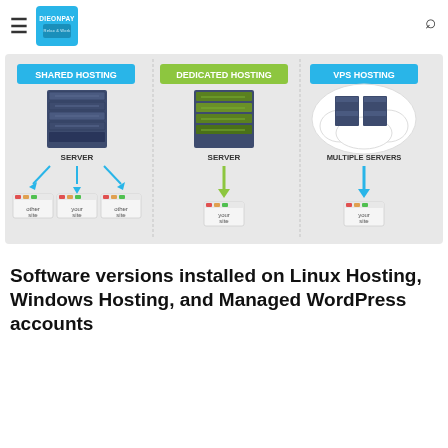DIEONPAY - Relax & Work
[Figure (infographic): Infographic comparing three types of web hosting: Shared Hosting (blue label) showing one server with arrows pointing to 'other site', 'your site', 'other site'; Dedicated Hosting (green label) showing one server with a green arrow pointing only to 'your site'; VPS Hosting (cyan label) showing multiple servers in a cloud with an arrow pointing to 'your site'.]
Software versions installed on Linux Hosting, Windows Hosting, and Managed WordPress accounts